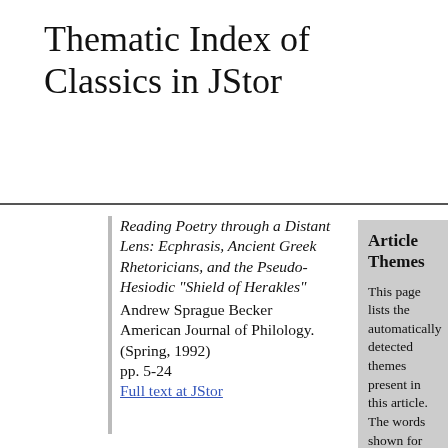Thematic Index of Classics in JStor
Reading Poetry through a Distant Lens: Ecphrasis, Ancient Greek Rhetoricians, and the Pseudo-Hesiodic "Shield of Herakles"
Andrew Sprague Becker
American Journal of Philology. (Spring, 1992)
pp. 5-24
Full text at JStor
Article Themes
This page lists the automatically detected themes present in this article. The words shown for each theme reflect the overall content of the theme.